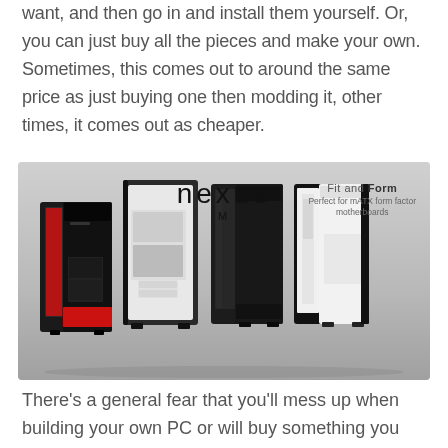want, and then go in and install them yourself. Or, you can just buy all the pieces and make your own. Sometimes, this comes out to around the same price as just buying one then modding it, other times, it comes out as cheaper.
[Figure (photo): Four Nexus M PC cases in different color configurations (black/red, white/black, black, white/black) displayed side by side. The image has the 'nexus M' brand logo at the top center and 'Fit and Form - Perfect for mATX form factor motherboards' text on the top right.]
There's a general fear that you'll mess up when building your own PC or will buy something you